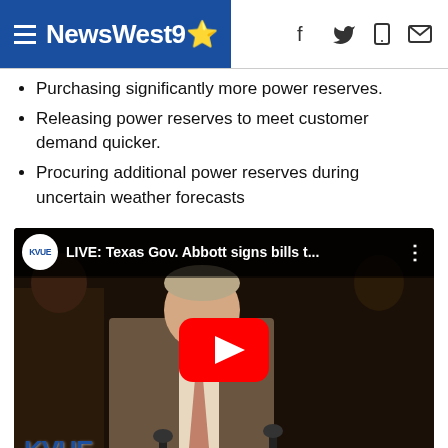NewsWest9
Purchasing significantly more power reserves.
Releasing power reserves to meet customer demand quicker.
Procuring additional power reserves during uncertain weather forecasts
[Figure (screenshot): YouTube video thumbnail: KVUE - LIVE: Texas Gov. Abbott signs bills t... with play button overlay, showing Gov. Abbott at a press conference with microphones. KVUE abc logo visible at bottom left.]